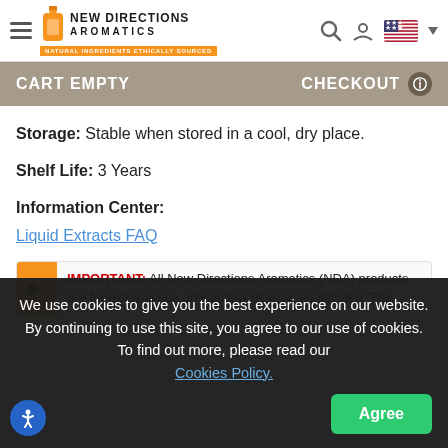New Directions Aromatics - Natural Ingredients Ethically Sourced
CART EMPTY    CHECKOUT
Storage: Stable when stored in a cool, dry place.
Shelf Life: 3 Years
Information Center:
Liquid Extracts FAQ
IMPORTANT: All New Directions Aromatics (NDA) products are for external use only unless otherwise indicated. This
We use cookies to give you the best experience on our website. By continuing to use this site, you agree to our use of cookies. To find out more, please read our Cookies Policy.